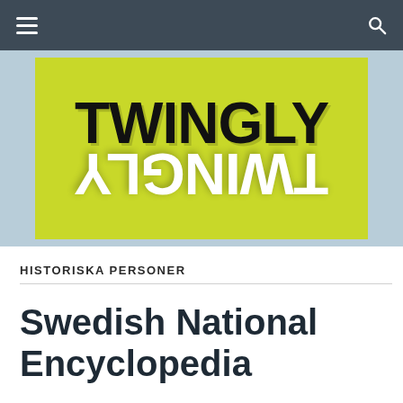[Figure (logo): Twingly logo on a yellow-green background. The word TWINGLY appears in large black bold uppercase letters, with a mirrored/flipped reflection of TWINGLY in white below it, set against a lime-green square, placed on a light blue-grey background.]
HISTORISKA PERSONER
Swedish National Encyclopedia